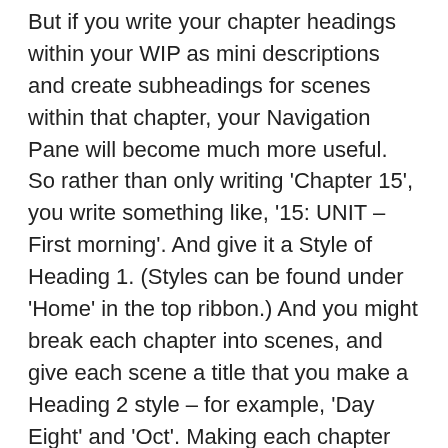But if you write your chapter headings within your WIP as mini descriptions and create subheadings for scenes within that chapter, your Navigation Pane will become much more useful. So rather than only writing 'Chapter 15', you write something like, '15: UNIT – First morning'. And give it a Style of Heading 1. (Styles can be found under 'Home' in the top ribbon.) And you might break each chapter into scenes, and give each scene a title that you make a Heading 2 style – for example, 'Day Eight' and 'Oct'. Making each chapter and scene title a mini summary of what's in that chapter and scene will allow you to see the whole content of your WIP within the navigation pane.
Here's a snippet of what my Navigation Pane looked like in an early draft of my most recent WIP. (Oct stands for Octopus)